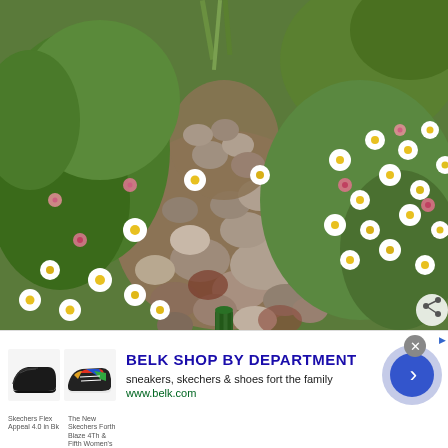[Figure (photo): Aerial close-up photo of a garden rock path surrounded by daisy flowers (white with yellow centers), purple/blue asters, pink flowers, green foliage, and various smooth rounded stones. A small green cylindrical basket/pot is visible among the rocks in the center.]
[Figure (infographic): Advertisement banner for Belk department store. Shows two shoe product images (black sneaker and colorful sneaker), ad headline 'BELK SHOP BY DEPARTMENT', subtext 'sneakers, skechers & shoes fort the family', URL 'www.belk.com', and a blue circular arrow button on the right.]